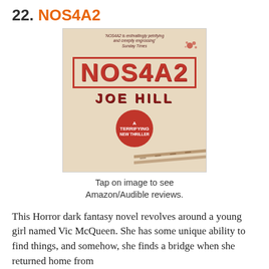22. NOS4A2
[Figure (photo): Book cover of NOS4A2 by Joe Hill. Beige/cream background with red splatter and tire tracks. Large bold red text 'NOS4A2' in a rectangle border, 'JOE HILL' below, a red circular badge reading 'A Terrifying New Thriller'. Quote at top: 'NOS4A2 is enthrallingly petrifying and creepily engrossing' Sunday Times.]
Tap on image to see Amazon/Audible reviews.
This Horror dark fantasy novel revolves around a young girl named Vic McQueen. She has some unique ability to find things, and somehow, she finds a bridge when she returned home from